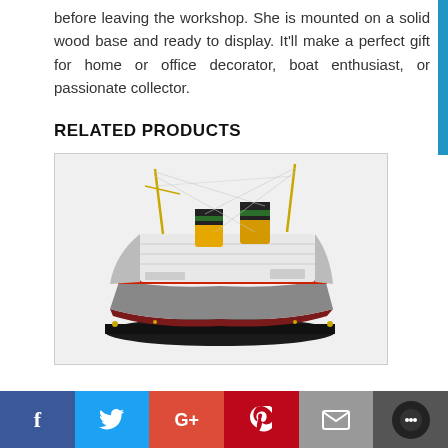before leaving the workshop. She is mounted on a solid wood base and ready to display. It'll make a perfect gift for home or office decorator, boat enthusiast, or passionate collector.
RELATED PRODUCTS
[Figure (photo): A detailed scale model of a classic ocean liner / cruise ship with yellow funnels featuring black and green bands, red hull stripe, gray superstructure, and rigging wires, mounted on a black wooden base, displayed on a white background.]
f  t  G+  P  [mail]  [chat]